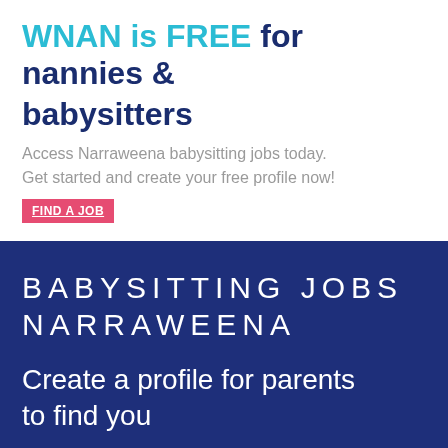WNAN is FREE for nannies & babysitters
Access Narraweena babysitting jobs today. Get started and create your free profile now!
FIND A JOB
BABYSITTING JOBS NARRAWEENA
Create a profile for parents to find you